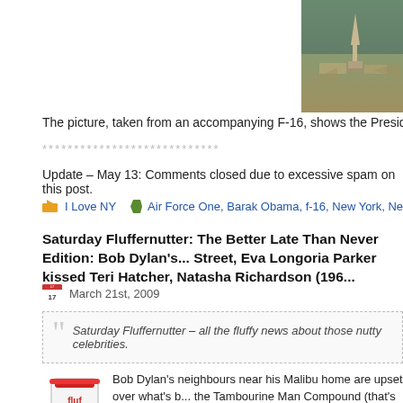[Figure (photo): Aerial photograph showing the Statue of Liberty and surrounding area, taken from an accompanying F-16]
The picture, taken from an accompanying F-16, shows the Presidential Aircraft fly...
****************************
Update – May 13: Comments closed due to excessive spam on this post.
I Love NY   Air Force One, Barak Obama, f-16, New York, New York City, Stat...
Saturday Fluffernutter: The Better Late Than Never Edition: Bob Dylan's... Street, Eva Longoria Parker kissed Teri Hatcher, Natasha Richardson (196...
March 21st, 2009
Saturday Fluffernutter – all the fluffy news about those nutty celebrities.
[Figure (photo): Fluff jar product image]
Bob Dylan's neighbours near his Malibu home are upset over what's b... the Tambourine Man Compound (that's Mr. Tambourine Man to you…. the residence they are guarding. But a man on an eight hour shift Pos... Street, and you can't expect them to, um…, in the woods. So a porta potty has b... later, when the warm ocean breeze blows in off the Pacific, Dylan's upscale neigh... his security staffs lunch – from six months ago.
Neighbours are not amused, but in these times of government that regulates every action you might think of performing, nobody put a "no ...